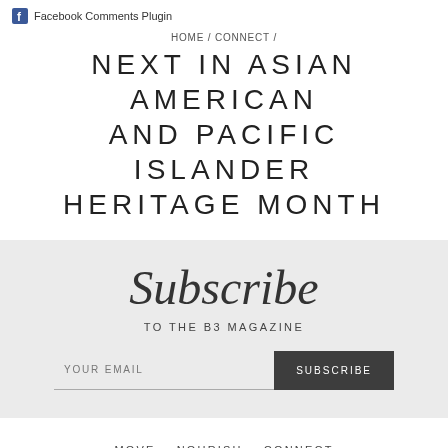Facebook Comments Plugin
HOME / CONNECT /
NEXT IN ASIAN AMERICAN AND PACIFIC ISLANDER HERITAGE MONTH
[Figure (other): Subscribe section with script 'Subscribe' heading, subtext 'TO THE B3 MAGAZINE', email input field with placeholder 'YOUR EMAIL', and dark button labeled 'SUBSCRIBE' on light gray background]
MOVE   NOURISH   CONNECT